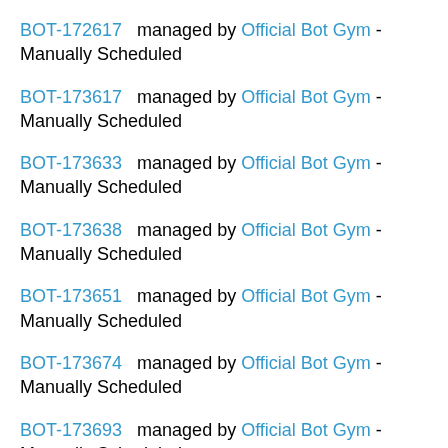BOT-172617   managed by Official Bot Gym - Manually Scheduled
BOT-173617   managed by Official Bot Gym - Manually Scheduled
BOT-173633   managed by Official Bot Gym - Manually Scheduled
BOT-173638   managed by Official Bot Gym - Manually Scheduled
BOT-173651   managed by Official Bot Gym - Manually Scheduled
BOT-173674   managed by Official Bot Gym - Manually Scheduled
BOT-173693   managed by Official Bot Gym - Manually Scheduled